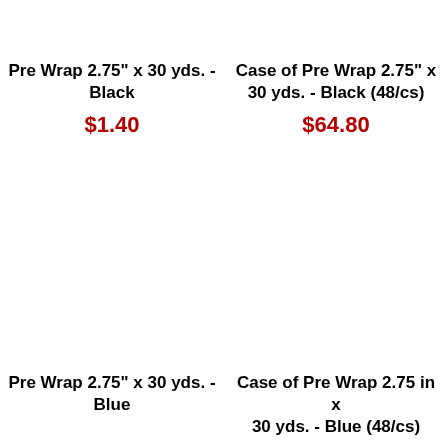Pre Wrap 2.75" x 30 yds. - Black
$1.40
Case of Pre Wrap 2.75" x 30 yds. - Black (48/cs)
$64.80
Pre Wrap 2.75" x 30 yds. - Blue
Case of Pre Wrap 2.75 in x 30 yds. - Blue (48/cs)